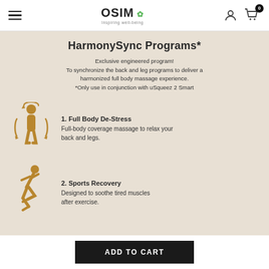OSIM Inspiring well-being
HarmonySync Programs*
Exclusive engineered program!
To synchronize the back and leg programs to deliver a harmonized full body massage experience.
*Only use in conjunction with uSqueez 2 Smart
[Figure (illustration): Golden/tan illustration of a human figure with arrows indicating full body massage, squeeze motion on sides]
1. Full Body De-Stress
Full-body coverage massage to relax your back and legs.
[Figure (illustration): Golden/tan illustration of a running figure, representing sports recovery]
2. Sports Recovery
Designed to soothe tired muscles after exercise.
ADD TO CART